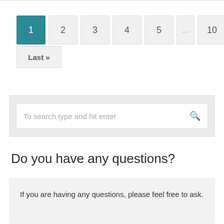[Figure (screenshot): Pagination control showing page buttons: 1 (active, teal), 2, 3, 4, 5, ..., 10, ..., », and Last »]
[Figure (screenshot): Search box with placeholder text 'To search type and hit enter' and a magnifying glass icon on a light grey background]
Do you have any questions?
If you are having any questions, please feel free to ask.